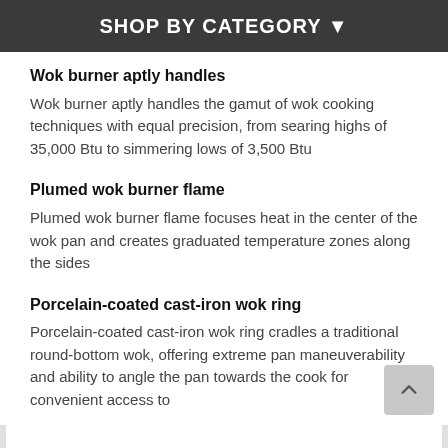SHOP BY CATEGORY ▾
Wok burner aptly handles
Wok burner aptly handles the gamut of wok cooking techniques with equal precision, from searing highs of 35,000 Btu to simmering lows of 3,500 Btu
Plumed wok burner flame
Plumed wok burner flame focuses heat in the center of the wok pan and creates graduated temperature zones along the sides
Porcelain-coated cast-iron wok ring
Porcelain-coated cast-iron wok ring cradles a traditional round-bottom wok, offering extreme pan maneuverability and ability to angle the pan towards the cook for convenient access to